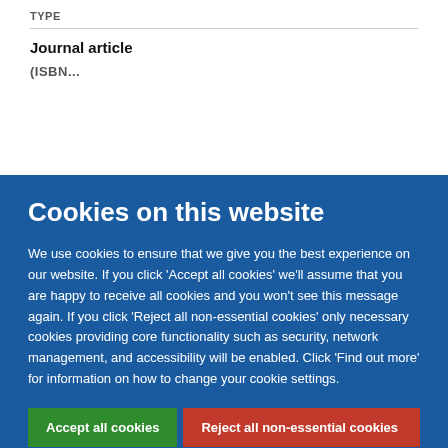TYPE
Journal article
(ISBN...)
Cookies on this website
We use cookies to ensure that we give you the best experience on our website. If you click 'Accept all cookies' we'll assume that you are happy to receive all cookies and you won't see this message again. If you click 'Reject all non-essential cookies' only necessary cookies providing core functionality such as security, network management, and accessibility will be enabled. Click 'Find out more' for information on how to change your cookie settings.
Accept all cookies
Reject all non-essential cookies
Find out more